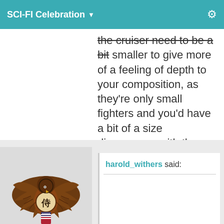SCI-FI Celebration
the cruiser need to be a bit smaller to give more of a feeling of depth to your composition, as they're only small fighters and you'd have a bit of a size discrepancy with the fighters launching from that ship too. Other than that minor issue? Great work, and looking forward to seeing more.
[Figure (illustration): Eagle emblem with spread wings, holding a globe with a Japanese kanji character, with an American flag shield at the bottom]
harold_withers said: